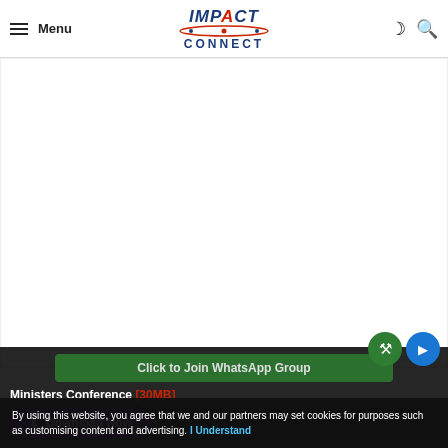Menu | IMPACT CONNECT | [moon icon] [search icon]
[Figure (screenshot): Large white blank content area below the site header]
Click to Join WhatsApp Group
Ministers Conference [30MB]
Download Now
By using this website, you agree that we and our partners may set cookies for purposes such as customising content and advertising. I Understand